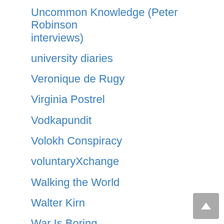Uncommon Knowledge (Peter Robinson interviews)
university diaries
Veronique de Rugy
Virginia Postrel
Vodkapundit
Volokh Conspiracy
voluntaryXchange
Walking the World
Walter Kirn
War Is Boring
War on the Rocks
Watts Up With That?
West Hunter (Cochran)